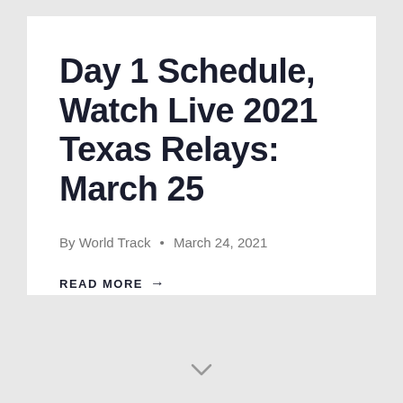Day 1 Schedule, Watch Live 2021 Texas Relays: March 25
By World Track • March 24, 2021
READ MORE →